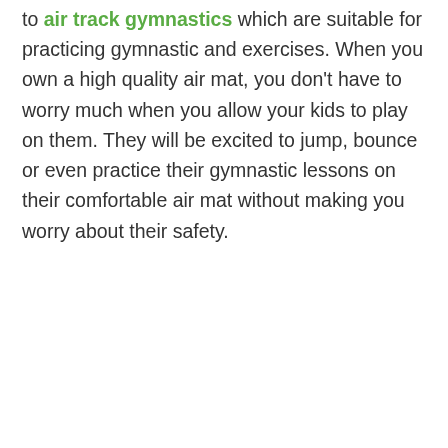to air track gymnastics which are suitable for practicing gymnastic and exercises. When you own a high quality air mat, you don't have to worry much when you allow your kids to play on them. They will be excited to jump, bounce or even practice their gymnastic lessons on their comfortable air mat without making you worry about their safety.